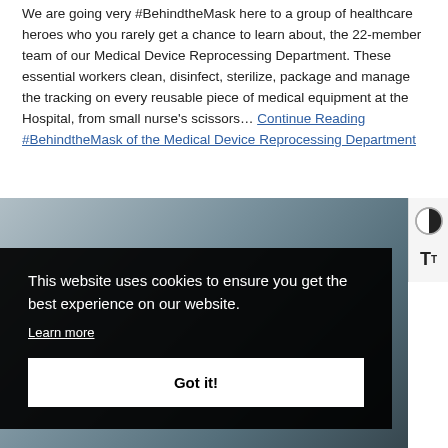We are going very #BehindtheMask here to a group of healthcare heroes who you rarely get a chance to learn about, the 22-member team of our Medical Device Reprocessing Department. These essential workers clean, disinfect, sterilize, package and manage the tracking on every reusable piece of medical equipment at the Hospital, from small nurse's scissors... Continue Reading #BehindtheMask of the Medical Device Reprocessing Department
[Figure (photo): Photograph partially visible behind cookie consent banner, showing people in a medical/hospital setting]
This website uses cookies to ensure you get the best experience on our website. Learn more Got it!